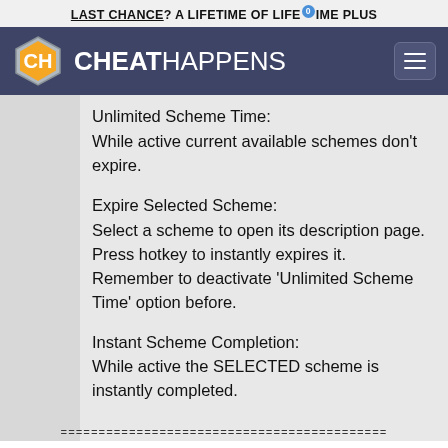LAST CHANCE? A LIFETIME OF LIFETIME PLUS
[Figure (logo): CheatHappens logo with hexagonal CH icon in orange/white and site name in white text on dark blue-gray navigation bar]
Unlimited Scheme Time:
While active current available schemes don't expire.
Expire Selected Scheme:
Select a scheme to open its description page. Press hotkey to instantly expires it. Remember to deactivate 'Unlimited Scheme Time' option before.
Instant Scheme Completion:
While active the SELECTED scheme is instantly completed.
=====================================